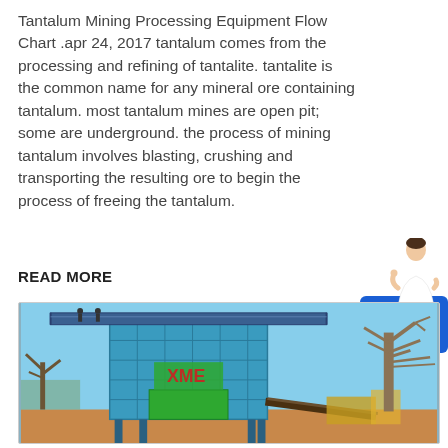Tantalum Mining Processing Equipment Flow Chart .apr 24, 2017 tantalum comes from the processing and refining of tantalite. tantalite is the common name for any mineral ore containing tantalum. most tantalum mines are open pit; some are underground. the process of mining tantalum involves blasting, crushing and transporting the resulting ore to begin the process of freeing the tantalum.
READ MORE
[Figure (photo): Photograph of a large blue industrial mining processing facility structure with green branding (XME logo visible in red), set against a clear blue sky with a bare tree on the right side, and sandy/dusty terrain in the foreground. Additional mining conveyor equipment visible in the background.]